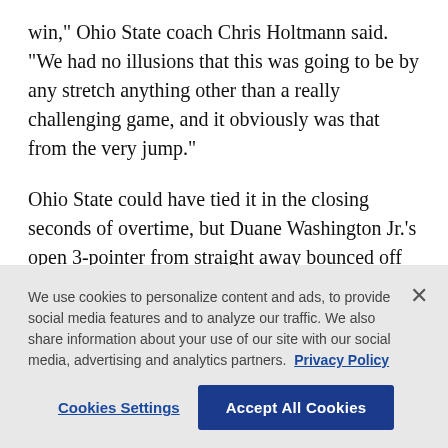win," Ohio State coach Chris Holtmann said. "We had no illusions that this was going to be by any stretch anything other than a really challenging game, and it obviously was that from the very jump."
Ohio State could have tied it in the closing seconds of overtime, but Duane Washington Jr.'s open 3-pointer from straight away bounced off the side of the rim, and Oral Roberts celebrated its first tournament win since 1974.
The — [partially visible/cut off text]
We use cookies to personalize content and ads, to provide social media features and to analyze our traffic. We also share information about your use of our site with our social media, advertising and analytics partners.  Privacy Policy
Cookies Settings
Accept All Cookies